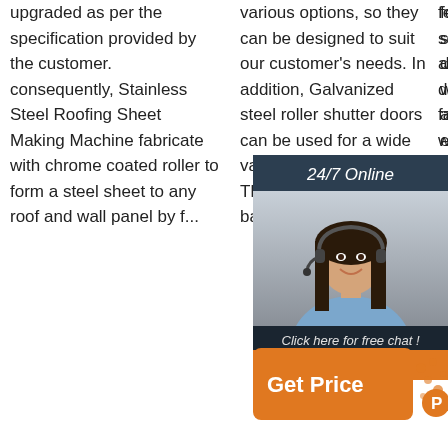upgraded as per the specification provided by the customer. consequently, Stainless Steel Roofing Sheet Making Machine fabricate with chrome coated roller to form a steel sheet to any roof and wall panel by f...
various options, so they can be designed to suit our customer's needs. In addition, Galvanized steel roller shutter doors can be used for a wide variety of applications. They are perfect for backyards.
few other services such as as-designing and fabri... work steel steel alon... man... supp... expe...
[Figure (infographic): 24/7 Online chat widget with a photo of a woman wearing a headset, dark background, with 'Click here for free chat!' text and an orange QUOTATION button]
[Figure (infographic): Orange 'Get Price' button with decorative dots and 'P' badge on the right side]